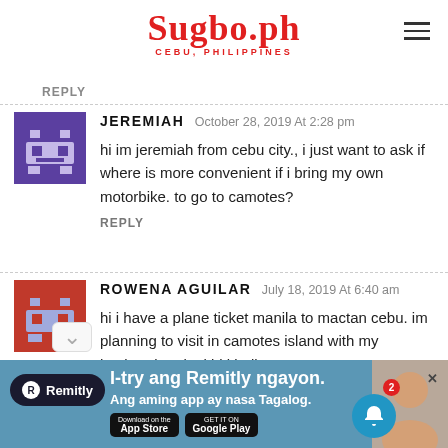Sugbo.ph – CEBU, PHILIPPINES
REPLY
JEREMIAH October 28, 2019 At 2:28 pm
hi im jeremiah from cebu city., i just want to ask if where is more convenient if i bring my own motorbike. to go to camotes?
REPLY
ROWENA AGUILAR July 18, 2019 At 6:40 am
hi i have a plane ticket manila to mactan cebu. im planning to visit in camotes island with my husband and 1 kid.kindly
REPLY
[Figure (screenshot): Advertisement banner for Remitly: 'I-try ang Remitly ngayon. Ang aming app ay nasa Tagalog.' with App Store and Google Play badges, Remitly logo, notification bell with badge showing 2, and a photo of a smiling person.]